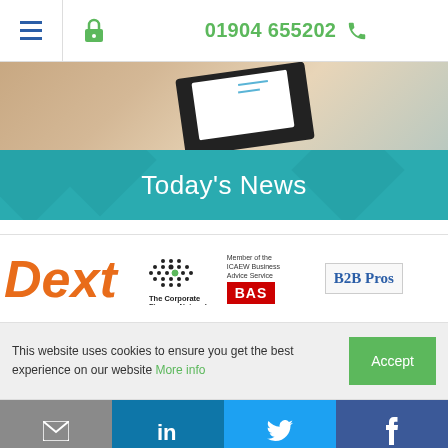01904 655202
[Figure (photo): Hero image showing tablets and documents on a desk, with a teal banner overlay reading Today's News]
Today's News
[Figure (logo): Dext logo (orange italic), The Corporate Finance Network logo, ICAEW BAS Member logo, B2B Pros logo]
This website uses cookies to ensure you get the best experience on our website More info
Email | LinkedIn | Twitter | Facebook